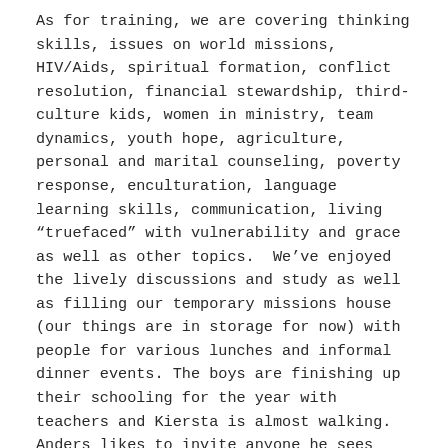As for training, we are covering thinking skills, issues on world missions, HIV/Aids, spiritual formation, conflict resolution, financial stewardship, third-culture kids, women in ministry, team dynamics, youth hope, agriculture, personal and marital counseling, poverty response, enculturation, language learning skills, communication, living “truefaced” with vulnerability and grace as well as other topics.  We’ve enjoyed the lively discussions and study as well as filling our temporary missions house (our things are in storage for now) with people for various lunches and informal dinner events. The boys are finishing up their schooling for the year with teachers and Kiersta is almost walking.  Anders likes to invite anyone he sees walking through campus for a meal, especially Tuesday Spanish lunch!
Although this is a sending place for missionaries, we plan to stay here at the Center for Global Outreach.  Ben will use this platform to encourage and facilitate...